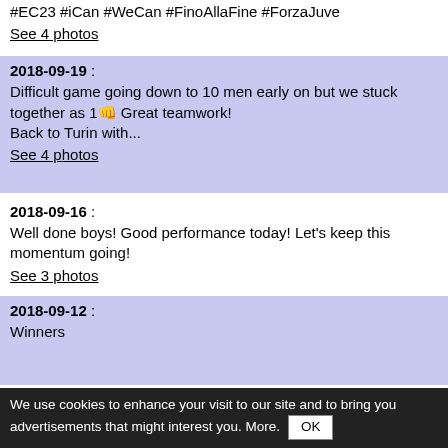#EC23 #iCan #WeCan #FinoAllaFine #ForzaJuve
See 4 photos
2018-09-19 :
Difficult game going down to 10 men early on but we stuck together as 1👊 Great teamwork!
Back to Turin with...
See 4 photos
2018-09-16 :
Well done boys! Good performance today! Let’s keep this momentum going!
See 3 photos
2018-09-12 :
Winners
We use cookies to enhance your visit to our site and to bring you advertisements that might interest you. More. OK